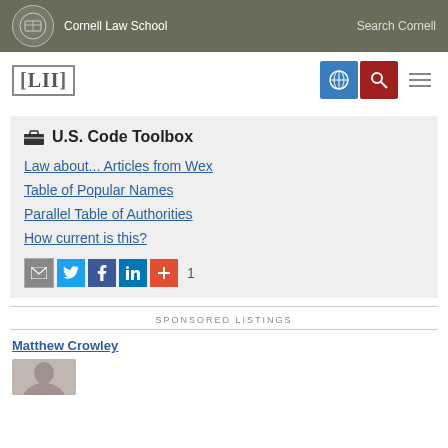Cornell Law School  Search Cornell
[Figure (logo): LII Legal Information Institute logo with navigation buttons]
U.S. Code Toolbox
Law about... Articles from Wex
Table of Popular Names
Parallel Table of Authorities
How current is this?
[Figure (infographic): Social share icons: email, Twitter, Facebook, LinkedIn, plus button, and count of 1]
SPONSORED LISTINGS
Matthew Crowley